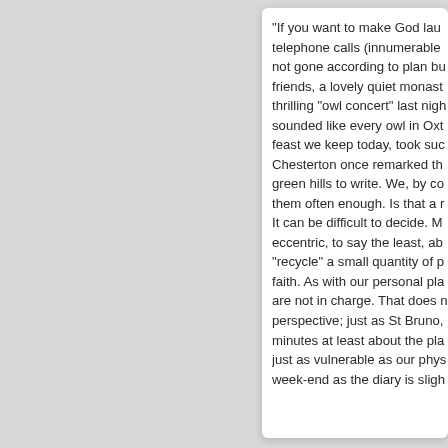"If you want to make God laugh, telephone calls (innumerable), not gone according to plan but friends, a lovely quiet monast thrilling "owl concert" last nigh sounded like every owl in Oxt feast we keep today, took suc Chesterton once remarked th green hills to write. We, by co them often enough. Is that a r It can be difficult to decide. M eccentric, to say the least, ab "recycle" a small quantity of p faith. As with our personal pla are not in charge. That does perspective; just as St Bruno, minutes at least about the pla just as vulnerable as our phy week-end as the diary is sligh